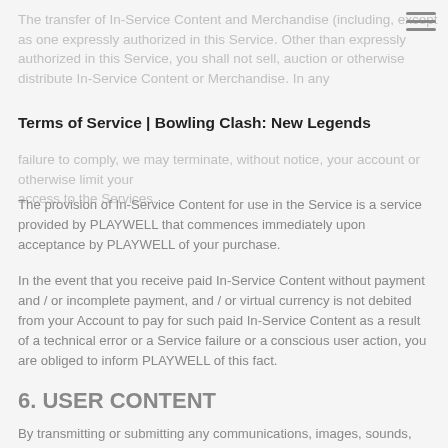The transfer of In-Service Content and Merchandise (including, except as one expressly authorized in this Service. Other than expressly authorized in this Service, you shall not sell, auction or otherwise distribute In-Service Content or Merchandise. In any failure to comply, we may terminate, without notice, your account or otherwise limit your access to the Services.
Terms of Service | Bowling Clash: New Legends
...your account or otherwise limit your access to the Services.
The provision of In-Service Content for use in the Service is a service provided by PLAYWELL that commences immediately upon acceptance by PLAYWELL of your purchase.
In the event that you receive paid In-Service Content without payment and / or incomplete payment, and / or virtual currency is not debited from your Account to pay for such paid In-Service Content as a result of a technical error or a Service failure or a conscious user action, you are obliged to inform PLAYWELL of this fact.
6. USER CONTENT
By transmitting or submitting any communications, images, sounds, and all the material, data, information or any chat text